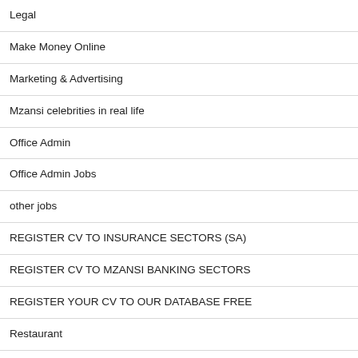Legal
Make Money Online
Marketing & Advertising
Mzansi celebrities in real life
Office Admin
Office Admin Jobs
other jobs
REGISTER CV TO INSURANCE SECTORS (SA)
REGISTER CV TO MZANSI BANKING SECTORS
REGISTER YOUR CV TO OUR DATABASE FREE
Restaurant